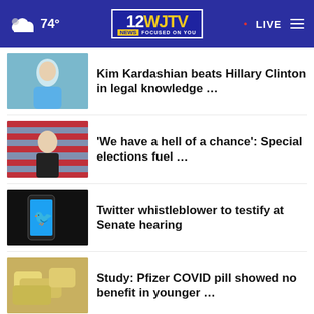74° · WJTV 12 News Focused On You · LIVE
Kim Kardashian beats Hillary Clinton in legal knowledge …
'We have a hell of a chance': Special elections fuel …
Twitter whistleblower to testify at Senate hearing
Study: Pfizer COVID pill showed no benefit in younger …
More Stories ›
Research a Vehicle BY VIN Number  Bump  Enter a VIN  Search